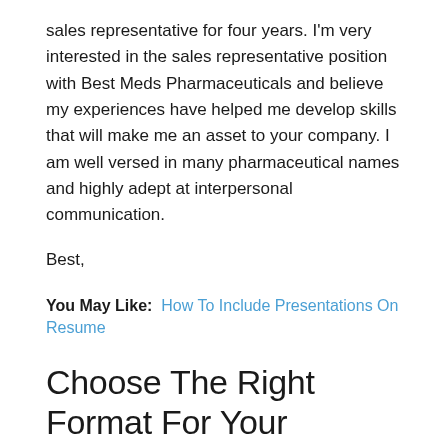sales representative for four years. I'm very interested in the sales representative position with Best Meds Pharmaceuticals and believe my experiences have helped me develop skills that will make me an asset to your company. I am well versed in many pharmaceutical names and highly adept at interpersonal communication.
Best,
You May Like:  How To Include Presentations On Resume
Choose The Right Format For Your Resume
As you know from your work in pharmaceuticals, organization is everything.